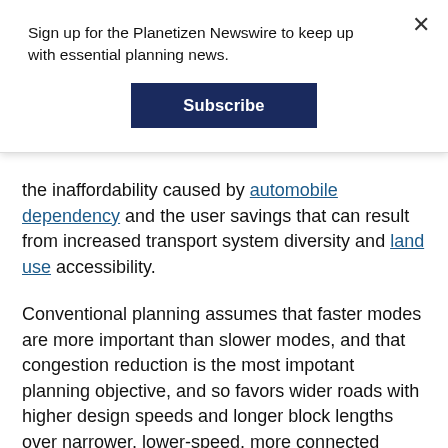Sign up for the Planetizen Newswire to keep up with essential planning news.
Subscribe
the inaffordability caused by automobile dependency and the user savings that can result from increased transport system diversity and land use accessibility.
Conventional planning assumes that faster modes are more important than slower modes, and that congestion reduction is the most impotant planning objective, and so favors wider roads with higher design speeds and longer block lengths over narrower, lower-speed, more connected roads. Similarly, conventional planning assumes that it is desirable to require generous parking supply at new developments which stimulates sprawl and reduces housing affordability. These planning decisions create automobile-dependent communities